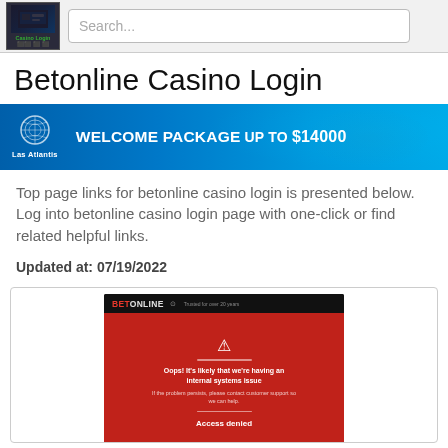Casino Login | Search...
Betonline Casino Login
[Figure (photo): Las Atlantis casino banner advertisement: WELCOME PACKAGE UP TO $14000]
Top page links for betonline casino login is presented below. Log into betonline casino login page with one-click or find related helpful links.
Updated at: 07/19/2022
[Figure (screenshot): Screenshot of BetOnline website showing an error page: 'Oops! It's likely that we're having an internal systems issue. If the problem persists, please contact customer support so we can help. Access denied']